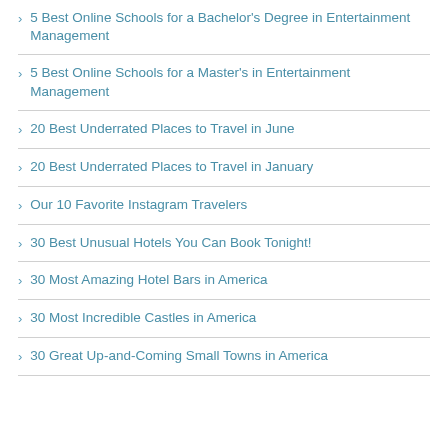5 Best Online Schools for a Bachelor's Degree in Entertainment Management
5 Best Online Schools for a Master's in Entertainment Management
20 Best Underrated Places to Travel in June
20 Best Underrated Places to Travel in January
Our 10 Favorite Instagram Travelers
30 Best Unusual Hotels You Can Book Tonight!
30 Most Amazing Hotel Bars in America
30 Most Incredible Castles in America
30 Great Up-and-Coming Small Towns in America